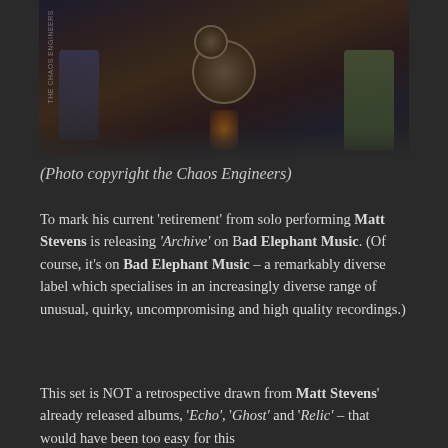[Figure (photo): Band performing on stage with drum kit, guitar players, dark venue lighting with amber lamp glow visible at bottom center]
(Photo copyright the Chaos Engineers)
To mark his current 'retirement' from solo performing Matt Stevens is releasing 'Archive' on Bad Elephant Music. (Of course, it's on Bad Elephant Music – a remarkably diverse label which specialises in an increasingly diverse range of unusual, quirky, uncompromising and high quality recordings.)
This set is NOT a retrospective drawn from Matt Stevens' already released albums, 'Echo', 'Ghost' and 'Relic' – that would have been too easy for this